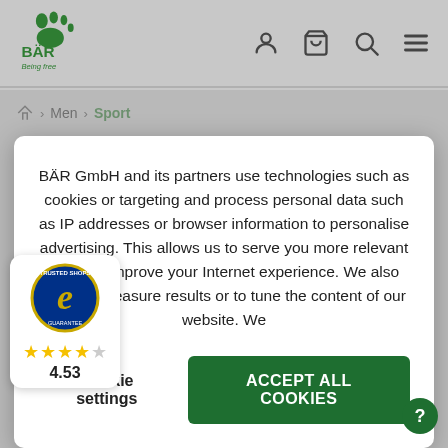BÄR — Being free (logo) | User | Cart | Search | Menu
Home > Men > Sport
BÄR GmbH and its partners use technologies such as cookies or targeting and process personal data such as IP addresses or browser information to personalise advertising. This allows us to serve you more relevant ads and improve your Internet experience. We also use it to measure results or to tune the content of our website. We
Cookie settings   ACCEPT ALL COOKIES
MOVING – BAREFOOT NING SHOES FOR MEN
et never stop. Whether you are running, jogging or
[Figure (logo): Trusted Shops guarantee badge with e logo, 4.5 stars, score 4.53]